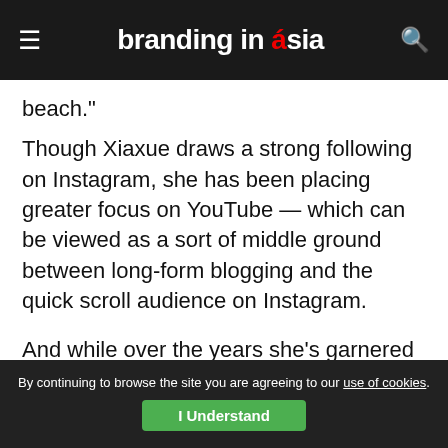branding in asia
beach."
Though Xiaxue draws a strong following on Instagram, she has been placing greater focus on YouTube — which can be viewed as a sort of middle ground between long-form blogging and the quick scroll audience on Instagram.
And while over the years she's garnered more than a fair share of detractors, Xiaxue's haters and fans alike must all agree: whatever she's doing has and continues to
By continuing to browse the site you are agreeing to our use of cookies. I Understand